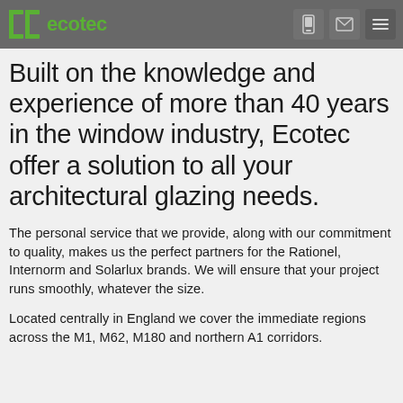ecotec
Built on the knowledge and experience of more than 40 years in the window industry, Ecotec offer a solution to all your architectural glazing needs.
The personal service that we provide, along with our commitment to quality, makes us the perfect partners for the Rationel, Internorm and Solarlux brands. We will ensure that your project runs smoothly, whatever the size.
Located centrally in England we cover the immediate regions across the M1, M62, M180 and northern A1 corridors.